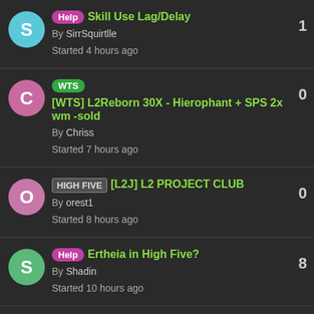Help Skill Use Lag/Delay By SirrSquirtlle Started 4 hours ago replies: 1
WTS [WTS] L2Reborn 30X - Hierophant + SPS 2x wm -sold By Chriss Started 7 hours ago replies: 0
HIGH FIVE [L2J] L2 PROJECT CLUB By orest1 Started 8 hours ago replies: 0
Help Ertheia in High Five? By Shadin Started 10 hours ago replies: 8
WTS WTS Reborn x1 Endgame ready Soultaker 79/78/75/75 with Email By Jukasik Started 10 hours ago replies: 0